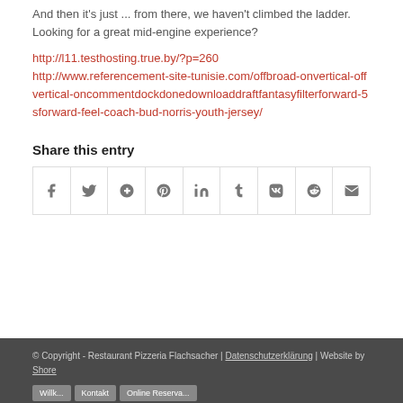And then it's just ... from there, we haven't climbed the ladder. Looking for a great mid-engine experience?
http://l11.testhosting.true.by/?p=260
http://www.referencement-site-tunisie.com/offbroad-onvertical-offvertical-oncommentdockdonedownloaddraftfantasyfilterforward-5sforward-feel-coach-bud-norris-youth-jersey/
Share this entry
[Figure (infographic): Row of 9 social share icon buttons: Facebook, Twitter, Google+, Pinterest, LinkedIn, Tumblr, VK, Reddit, Email]
© Copyright - Restaurant Pizzeria Flachsacher | Datenschutzerklärung | Website by Shore